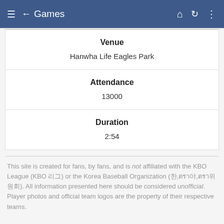Games
| Field | Value |
| --- | --- |
| Venue | Hanwha Life Eagles Park |
| Attendance | 13000 |
| Duration | 2:54 |
This site is created for fans, by fans, and is not affiliated with the KBO League (KBO 리그) or the Korea Baseball Organization (한국야구위원회). All information presented here should be considered unofficial. Player photos and official team logos are the property of their respective teams.